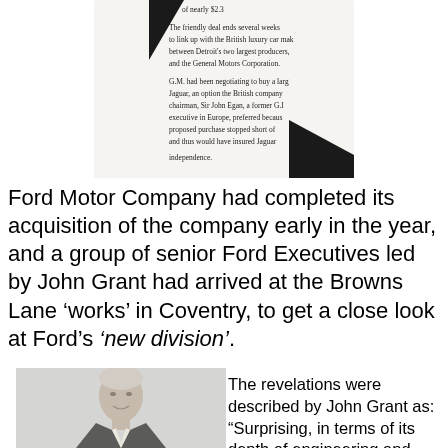[Figure (screenshot): Clipped newspaper article showing partial text about Ford, GM, and Jaguar acquisition deal]
Ford Motor Company had completed its acquisition of the company early in the year, and a group of senior Ford Executives led by John Grant had arrived at the Browns Lane ‘works’ in Coventry, to get a close look at Ford’s ‘new division’.
[Figure (photo): Portrait photo of an elderly man in a dark suit with light tie, grey hair]
The revelations were described by John Grant as: “Surprising, in terms of its depth of engineering and technical talent. Appalling, in its